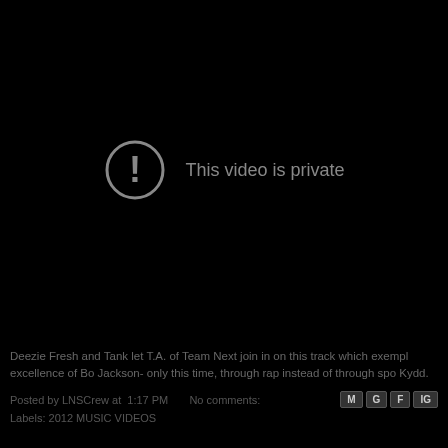[Figure (screenshot): YouTube embedded video player showing 'This video is private' error message with an exclamation mark circle icon on a dark/black background.]
Deezie Fresh and Tank let T.A. of Team Next join in on this track which exempl... excellence of Bo Jackson- only this time, through rap instead of through spo... Kydd.
Posted by LNSCrew at 1:17 PM   No comments:
Labels: 2012 MUSIC VIDEOS